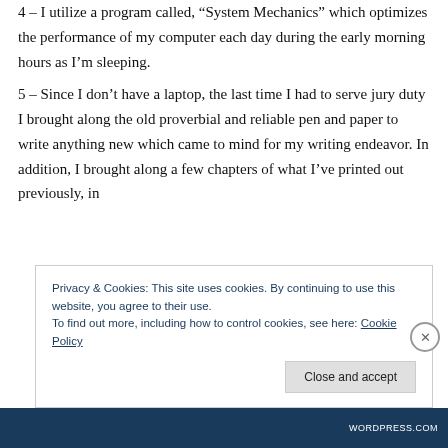4 – I utilize a program called, “System Mechanics” which optimizes the performance of my computer each day during the early morning hours as I’m sleeping.
5 – Since I don’t have a laptop, the last time I had to serve jury duty I brought along the old proverbial and reliable pen and paper to write anything new which came to mind for my writing endeavor. In addition, I brought along a few chapters of what I’ve printed out previously, in
Privacy & Cookies: This site uses cookies. By continuing to use this website, you agree to their use.
To find out more, including how to control cookies, see here: Cookie Policy